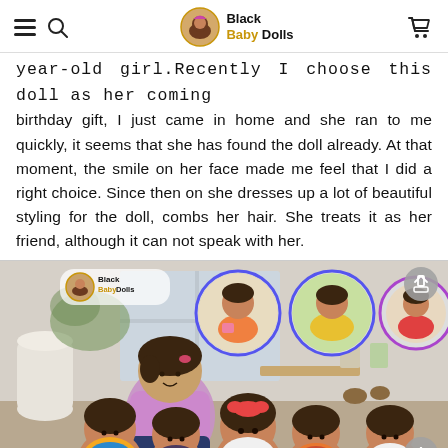Black Baby Dolls
year-old girl.Recently I choose this doll as her coming birthday gift, I just came in home and she ran to me quickly, it seems that she has found the doll already. At that moment, the smile on her face made me feel that I did a right choice. Since then on she dresses up a lot of beautiful styling for the doll, combs her hair. She treats it as her friend, although it can not speak with her.
[Figure (photo): Product photo collage: a child playing with Black Baby Dolls; three circular inset photos showing children playing with dolls; main photo shows a child with a collection of five black baby dolls with curly hair in colorful outfits]